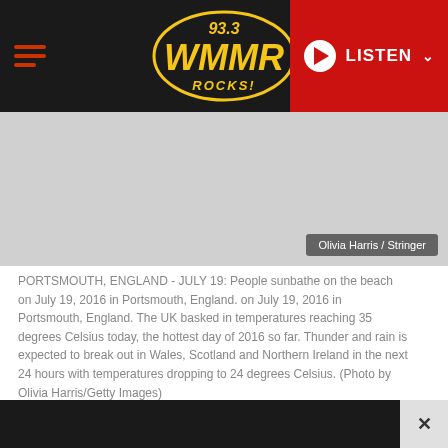93.3 WMMR ROCKS! — LISTEN
[Figure (photo): Gray placeholder photo area with credit label 'Olivia Harris / Stringer' in bottom-right corner]
PORTSMOUTH, ENGLAND - JULY 19: People sunbathe on the beach on July 19, 2016 in Portsmouth, England. on July 19, 2016 in Portsmouth, England. The UK basked in temperatures reaching 35 degrees Celsius today, the hottest day of 2016 so far. Thunder and rain is expected to break out in Wales, Scotland and Northern Ireland in the next 24 hours with temperatures dropping to 24 degrees Celsius. (Photo by Olivia Harris/Getty Images)
Gone are the days of having to lay out in the sun or go to a tanning booth! A group of
× (close ad bar)